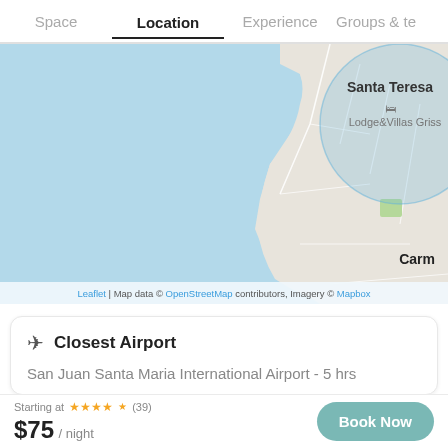Space  Location  Experience  Groups & te
[Figure (map): Map showing coastal area near Santa Teresa with Lodge&Villas Griss marked, blue ocean water on left, coastal roads and terrain on right. 'Carm' visible at bottom right corner. Map attribution: Leaflet | Map data © OpenStreetMap contributors, Imagery © Mapbox]
✈ Closest Airport
San Juan Santa Maria International Airport - 5 hrs
Starting at ★★★★☆ (39) $75 / night  Book Now